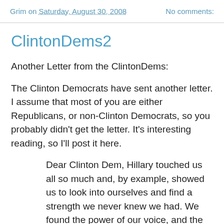Grim on Saturday, August 30, 2008   No comments:
ClintonDems2
Another Letter from the ClintonDems:
The Clinton Democrats have sent another letter. I assume that most of you are either Republicans, or non-Clinton Democrats, so you probably didn't get the letter. It's interesting reading, so I'll post it here.
Dear Clinton Dem, Hillary touched us all so much and, by example, showed us to look into ourselves and find a strength we never knew we had. We found the power of our voice, and the power of our votes. The suffragetes would be proud!
The selection of Senator Palin by McCain is bittersweet. Hillary was "The One". The choice of